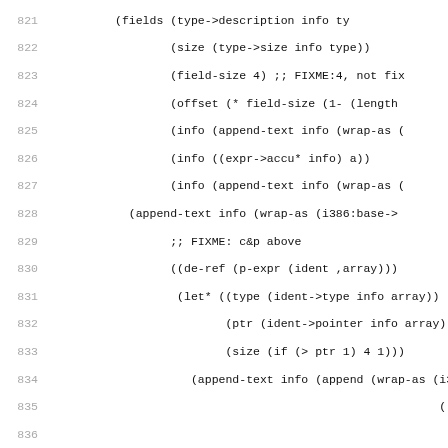Source code listing lines 821-852, Scheme/Lisp code for compiler backend with i386 assembly generation